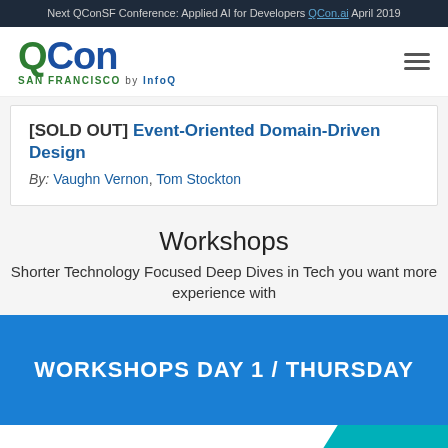Next QConSF Conference: Applied AI for Developers QCon.ai April 2019
[Figure (logo): QCon San Francisco by InfoQ logo with hamburger menu icon]
[SOLD OUT] Event-Oriented Domain-Driven Design
By: Vaughn Vernon, Tom Stockton
Workshops
Shorter Technology Focused Deep Dives in Tech you want more experience with
WORKSHOPS DAY 1 / THURSDAY